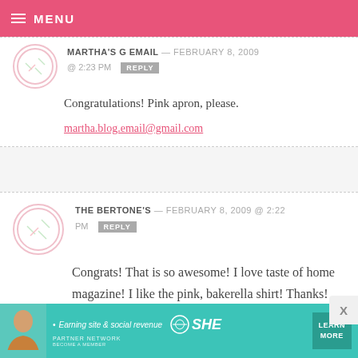MENU
MARTHA'S G EMAIL — FEBRUARY 8, 2009 @ 2:23 PM REPLY
Congratulations! Pink apron, please.
martha.blog.email@gmail.com
THE BERTONE'S — FEBRUARY 8, 2009 @ 2:22 PM REPLY
Congrats! That is so awesome! I love taste of home magazine! I like the pink, bakerella shirt! Thanks!
[Figure (infographic): SHE Media ad banner: Earning site & social revenue, SHE PARTNER NETWORK, BECOME A MEMBER, LEARN MORE button]